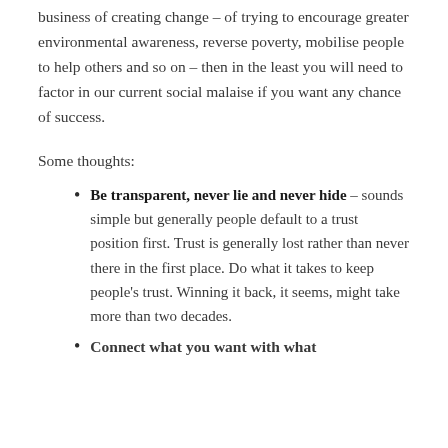business of creating change – of trying to encourage greater environmental awareness, reverse poverty, mobilise people to help others and so on – then in the least you will need to factor in our current social malaise if you want any chance of success.
Some thoughts:
Be transparent, never lie and never hide – sounds simple but generally people default to a trust position first. Trust is generally lost rather than never there in the first place. Do what it takes to keep people's trust. Winning it back, it seems, might take more than two decades.
Connect what you want with what